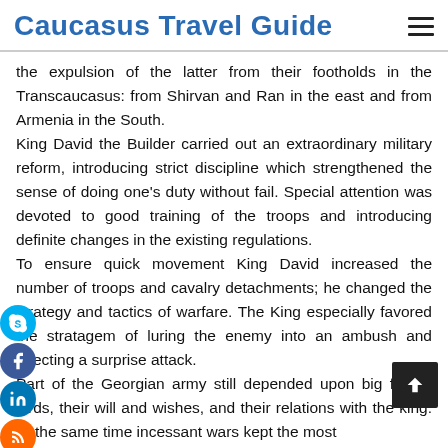Caucasus Travel Guide
the expulsion of the latter from their footholds in the Transcaucasus: from Shirvan and Ran in the east and from Armenia in the South.
King David the Builder carried out an extraordinary military reform, introducing strict discipline which strengthened the sense of doing one's duty without fail. Special attention was devoted to good training of the troops and introducing definite changes in the existing regulations.
To ensure quick movement King David increased the number of troops and cavalry detachments; he changed the strategy and tactics of warfare. The King especially favored the stratagem of luring the enemy into an ambush and effecting a surprise attack.
Part of the Georgian army still depended upon big feudal lords, their will and wishes, and their relations with the king. At the same time incessant wars kept the most